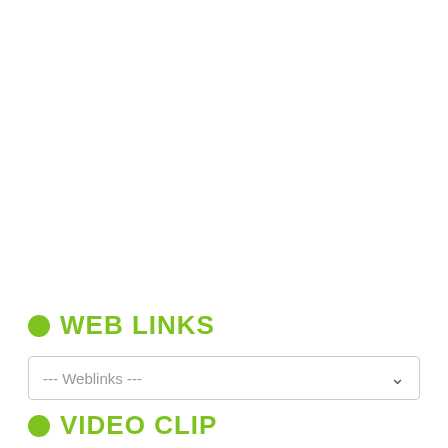WEB LINKS
--- Weblinks ---
VIDEO CLIP